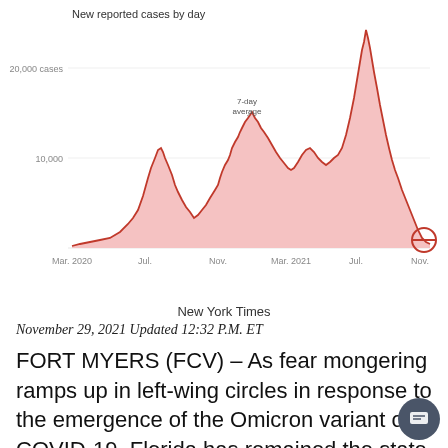[Figure (continuous-plot): Area line chart showing Florida new reported COVID-19 cases by day from Mar 2020 to Nov 2021, with a 7-day average line. Y-axis shows 10,000 and 20,000 cases markers. X-axis shows Mar 2020, Jul, Nov, Mar 2021, Jul, Nov. A circle annotation marks the current position near Nov 2021. The chart shows multiple peaks with the highest around Sep 2021.]
New York Times
November 29, 2021 Updated 12:32 P.M. ET
FORT MYERS (FCV) – As fear mongering ramps up in left-wing circles in response to the emergence of the Omicron variant of COVID-19, Florida has remained the state with